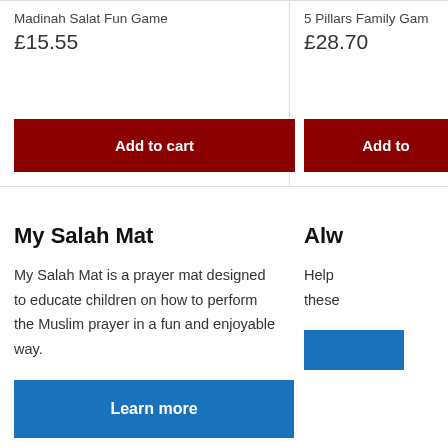Madinah Salat Fun Game
£15.55
Add to cart
5 Pillars Family Gam…
£28.70
Add to…
My Salah Mat
My Salah Mat is a prayer mat designed to educate children on how to perform the Muslim prayer in a fun and enjoyable way.
Learn more
Alw…
Help… these…